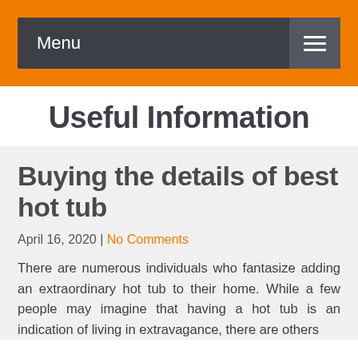Menu
Useful Information
Buying the details of best hot tub
April 16, 2020 | No Comments
There are numerous individuals who fantasize adding an extraordinary hot tub to their home. While a few people may imagine that having a hot tub is an indication of living in extravagance, there are others